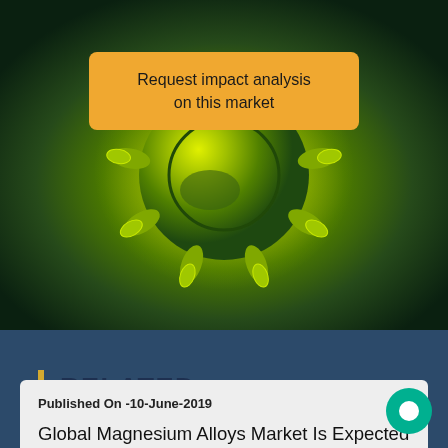[Figure (illustration): Green coronavirus/virus illustration on olive-green background with glowing effect]
Request impact analysis on this market
RELATED NEWS
Published On -10-June-2019
Global Magnesium Alloys Market Is Expected To Reach Around USD 3.38 Billion By 2026